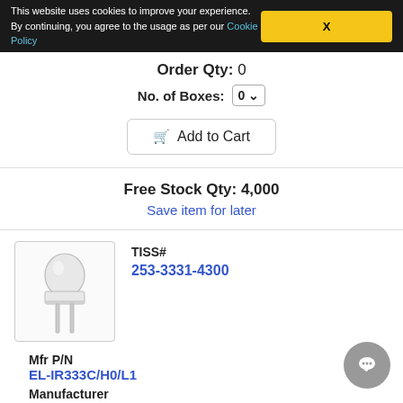This website uses cookies to improve your experience. By continuing, you agree to the usage as per our Cookie Policy
Order Qty: 0
No. of Boxes: 0
Add to Cart
Free Stock Qty: 4,000
Save item for later
TISS#
253-3331-4300
[Figure (photo): LED component photo - clear T-1 3/4 LED with two wire leads]
Mfr P/N
EL-IR333C/H0/L1
Manufacturer